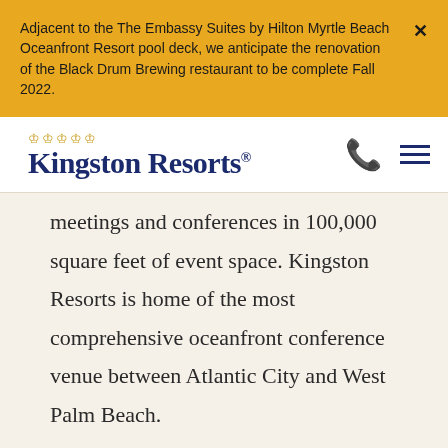Adjacent to the The Embassy Suites by Hilton Myrtle Beach Oceanfront Resort pool deck, we anticipate the renovation of the Black Drum Brewing restaurant to be complete Fall 2022.
[Figure (logo): Kingston Resorts logo with crown icon in dark navy blue]
meetings and conferences in 100,000 square feet of event space. Kingston Resorts is home of the most comprehensive oceanfront conference venue between Atlantic City and West Palm Beach.
Find flexible spaces to fit your meeting and conference needs in a comforting Lowcountry setting. With on-site catering